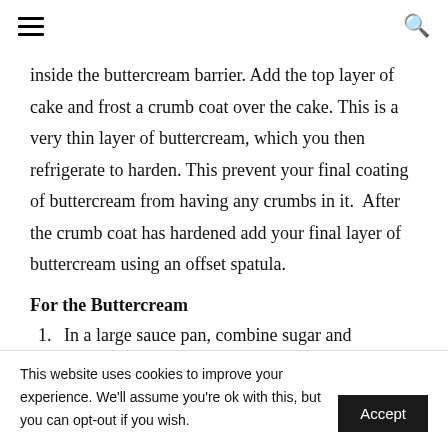≡  🔍
inside the buttercream barrier. Add the top layer of cake and frost a crumb coat over the cake. This is a very thin layer of buttercream, which you then refrigerate to harden. This prevent your final coating of buttercream from having any crumbs in it.  After the crumb coat has hardened add your final layer of buttercream using an offset spatula.
For the Buttercream
1. In a large sauce pan, combine sugar and cornstarch, whisk together to combine. Add in the
This website uses cookies to improve your experience. We'll assume you're ok with this, but you can opt-out if you wish.